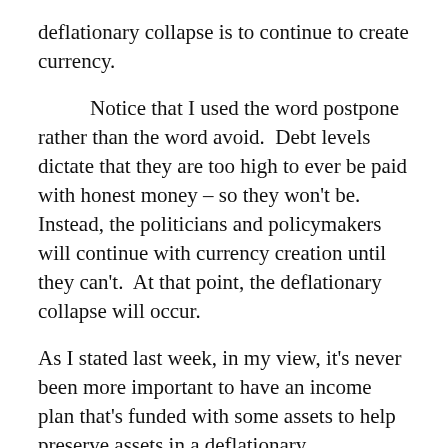deflationary collapse is to continue to create currency.
Notice that I used the word postpone rather than the word avoid.  Debt levels dictate that they are too high to ever be paid with honest money – so they won't be.  Instead, the politicians and policymakers will continue with currency creation until they can't.  At that point, the deflationary collapse will occur.
As I stated last week, in my view, it's never been more important to have an income plan that's funded with some assets to help preserve assets in a deflationary environment and some assets that will help to act as an